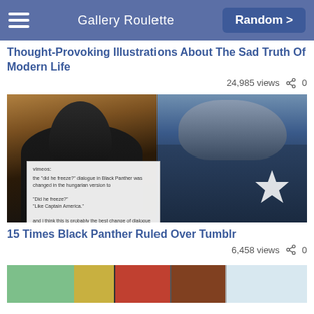Gallery Roulette | Random >
Thought-Provoking Illustrations About The Sad Truth Of Modern Life
24,985 views  < 0
[Figure (photo): Split image: left side shows Black Panther character in suit, right side shows Captain America lying down. Overlaid Tumblr post reads: 'vimeos: the did he freeze? dialogue in Black Panther was changed in the hungarian version to Did he freeze? Like Captain America. and i think this is probably the best change of dialogue in the history of dubbing movies']
15 Times Black Panther Ruled Over Tumblr
6,458 views  < 0
[Figure (photo): Partially visible colorful image at bottom of page]